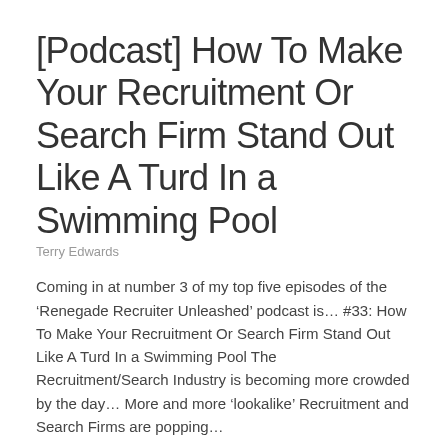[Podcast] How To Make Your Recruitment Or Search Firm Stand Out Like A Turd In a Swimming Pool
Terry Edwards
Coming in at number 3 of my top five episodes of the ‘Renegade Recruiter Unleashed’ podcast is… #33: How To Make Your Recruitment Or Search Firm Stand Out Like A Turd In a Swimming Pool The Recruitment/Search Industry is becoming more crowded by the day… More and more ‘lookalike’ Recruitment and Search Firms are popping…
Continue Reading →